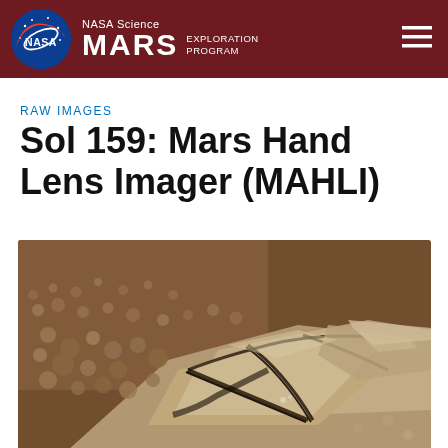NASA Science MARS EXPLORATION PROGRAM
RAW IMAGES
Sol 159: Mars Hand Lens Imager (MAHLI)
[Figure (photo): Close-up photograph taken by the Mars Hand Lens Imager (MAHLI) on Sol 159, showing Martian ground surface with reddish-brown soil, small pebbles and rounded granules in the upper left, and flat angular rock slabs with cracks running diagonally across the frame.]